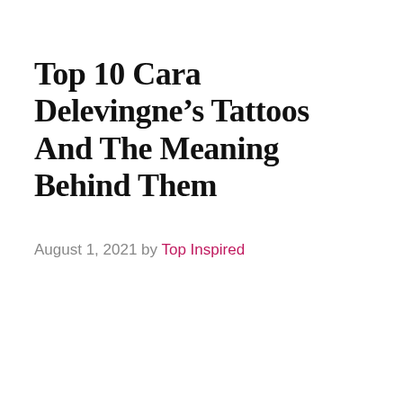Top 10 Cara Delevingne's Tattoos And The Meaning Behind Them
August 1, 2021 by Top Inspired